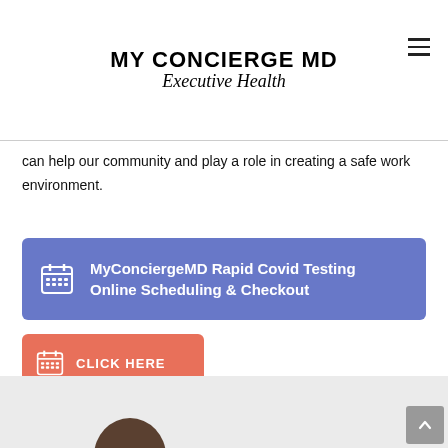[Figure (logo): My Concierge MD Executive Health logo — bold sans-serif uppercase name with italic script subtitle]
can help our community and play a role in creating a safe work environment.
MyConciergeMD Rapid Covid Testing Online Scheduling & Checkout
CLICK HERE
[Figure (photo): Partial photo of a person, showing top of head with dark hair, at bottom of page]